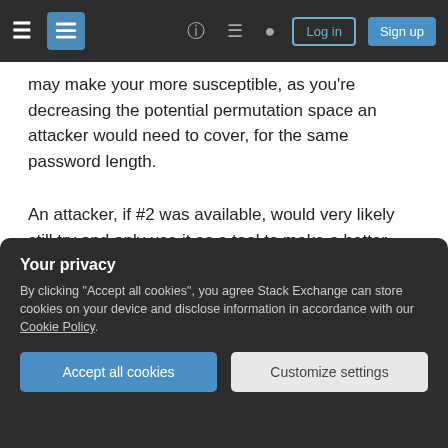Stack Exchange navigation bar with Log in and Sign up buttons
may make your more susceptible, as you're decreasing the potential permutation space an attacker would need to cover, for the same password length.
An attacker, if #2 was available, would very likely still try and only use it as a tool to make a better brute force attack by creating a dictionary from the highest frequency passwords from that set.
With that said, it is worth noting that the entirety of HIBP database still represents a relatively small
Your privacy
By clicking "Accept all cookies", you agree Stack Exchange can store cookies on your device and disclose information in accordance with our Cookie Policy.
Accept all cookies   Customize settings
Share    edited Nov 18, 2019 at 17:37